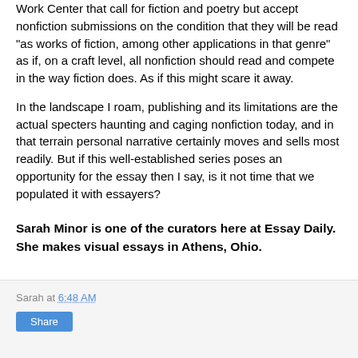Work Center that call for fiction and poetry but accept nonfiction submissions on the condition that they will be read "as works of fiction, among other applications in that genre" as if, on a craft level, all nonfiction should read and compete in the way fiction does. As if this might scare it away.
In the landscape I roam, publishing and its limitations are the actual specters haunting and caging nonfiction today, and in that terrain personal narrative certainly moves and sells most readily. But if this well-established series poses an opportunity for the essay then I say, is it not time that we populated it with essayers?
Sarah Minor is one of the curators here at Essay Daily. She makes visual essays in Athens, Ohio.
Sarah at 6:48 AM